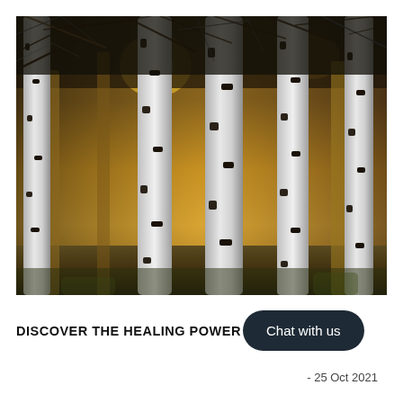[Figure (photo): A photograph of a birch tree forest in autumn/winter. Multiple white birch trunks with dark markings fill the frame. Bare dark branches stretch across the top. Golden/amber light filters through from behind the trees, illuminating the background with warm tones against the white trunks.]
DISCOVER THE HEALING POWER [partially obscured] T
Chat with us
- 25 Oct 2021